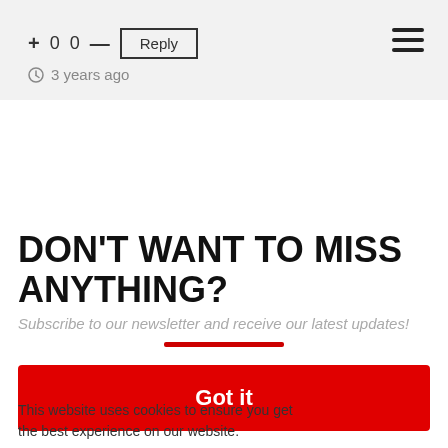+ 0  0 —  Reply   (hamburger menu)
🕐 3 years ago
DON'T WANT TO MISS ANYTHING?
Subscribe to our newsletter and receive our latest updates!
Got it
This website uses cookies to ensure you get the best experience on our website.